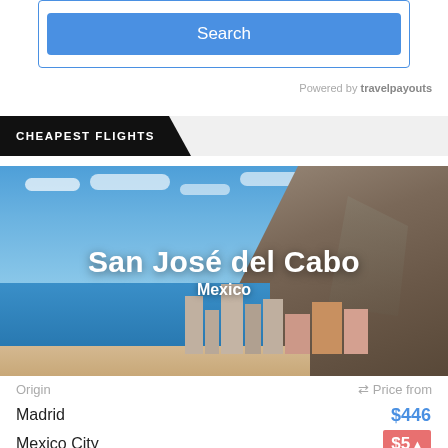[Figure (screenshot): Blue Search button in a bordered container]
Powered by travelpayouts
CHEAPEST FLIGHTS
[Figure (photo): Scenic photo of San José del Cabo, Mexico, showing rocky mountain, ocean beach, and buildings]
San José del Cabo
Mexico
| Origin | ⇄ Price from |
| --- | --- |
| Madrid | $446 |
| Mexico City | $5c |
| Cancun | $62 |